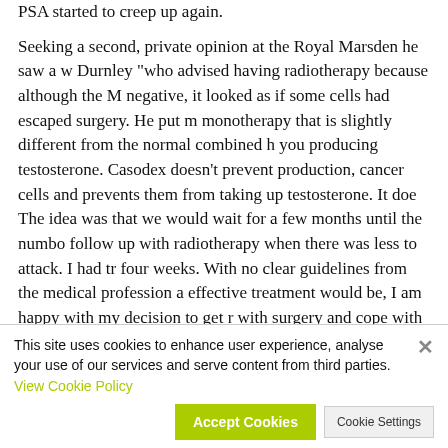PSA started to creep up again.

Seeking a second, private opinion at the Royal Marsden he saw a w Durnley "who advised having radiotherapy because although the M negative, it looked as if some cells had escaped surgery. He put m monotherapy that is slightly different from the normal combined h you producing testosterone. Casodex doesn't prevent production, cancer cells and prevents them from taking up testosterone. It doe The idea was that we would wait for a few months until the numbo follow up with radiotherapy when there was less to attack. I had tr four weeks. With no clear guidelines from the medical profession a effective treatment would be, I am happy with my decision to get r with surgery and cope with what arose afterwards.

Two years on, my PSA has dropped to a very low 0.10, but to me a entally, I follow a mode I never foll in the first place. PSAs PSA bu suddenly shoots up. I have changed my diet a healthy as possible. I eat no red meat or dairy and have at least l drink soya milk, green tea and take a lot of lycopene in cooked to
[Figure (other): Cookie consent banner overlay at the bottom of the page. Contains text: 'This site uses cookies to enhance user experience, analyse your use of our services and serve content from third parties. View Cookie Policy' with an X close button, an 'Accept Cookies' button (yellow-green), and a 'Cookie Settings' button.]